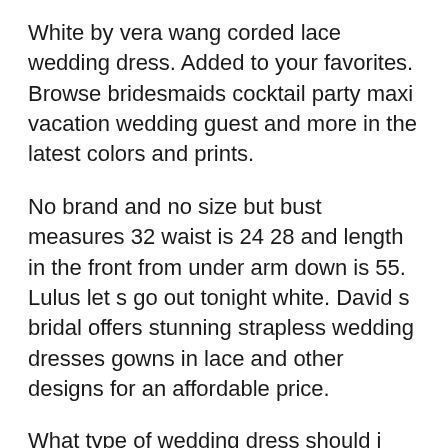White by vera wang corded lace wedding dress. Added to your favorites. Browse bridesmaids cocktail party maxi vacation wedding guest and more in the latest colors and prints.
No brand and no size but bust measures 32 waist is 24 28 and length in the front from under arm down is 55. Lulus let s go out tonight white. David s bridal offers stunning strapless wedding dresses gowns in lace and other designs for an affordable price.
What type of wedding dress should i wear to a casual wedding. P gorgeous bright white column strapless wedding gown with train. List of bridal dresses containing 90 styles.
4 1 out of 5. White wedding dresses are the perfect choice for brides with an eye on accessories. Lulus always adored white and nude sequin mermaid maxi dress.
For headpieces make sure the veil and dress share the